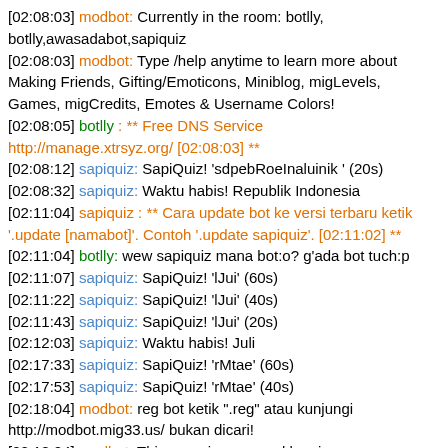[02:08:03] modbot: Currently in the room: botlly, botlly,awasadabot,sapiquiz
[02:08:03] modbot: Type /help anytime to learn more about Making Friends, Gifting/Emoticons, Miniblog, migLevels, Games, migCredits, Emotes & Username Colors!
[02:08:05] botlly : ** Free DNS Service http://manage.xtrsyz.org/ [02:08:03] **
[02:08:12] sapiquiz: SapiQuiz! 'sdpebRoeInaluinik ' (20s)
[02:08:32] sapiquiz: Waktu habis! Republik Indonesia
[02:11:04] sapiquiz : ** Cara update bot ke versi terbaru ketik '.update [namabot]'. Contoh '.update sapiquiz'. [02:11:02] **
[02:11:04] botlly: wew sapiquiz mana bot:o? g'ada bot tuch:p
[02:11:07] sapiquiz: SapiQuiz! 'lJui' (60s)
[02:11:22] sapiquiz: SapiQuiz! 'lJui' (40s)
[02:11:43] sapiquiz: SapiQuiz! 'lJui' (20s)
[02:12:03] sapiquiz: Waktu habis! Juli
[02:17:33] sapiquiz: SapiQuiz! 'rMtae' (60s)
[02:17:53] sapiquiz: SapiQuiz! 'rMtae' (40s)
[02:18:04] modbot: reg bot ketik ".reg" atau kunjungi http://modbot.mig33.us/ bukan dicari!
[02:18:04] modbot: This room is managed by gigne
[02:18:04] modbot: Currently in the room: botlly,